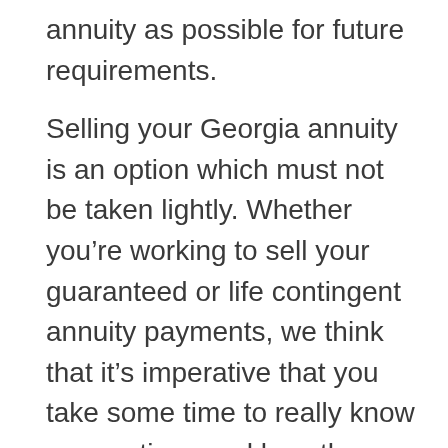annuity as possible for future requirements.
Selling your Georgia annuity is an option which must not be taken lightly. Whether you're working to sell your guaranteed or life contingent annuity payments, we think that it's imperative that you take some time to really know your options and how they are going to affect you long-term. We work to provide you with choices that provide the most cash when you choose to sell. In addition, we make an effort to provide those options alongside service that ensures you won't ever feel hurried or in the dark. We will work closely with you from start to finish.